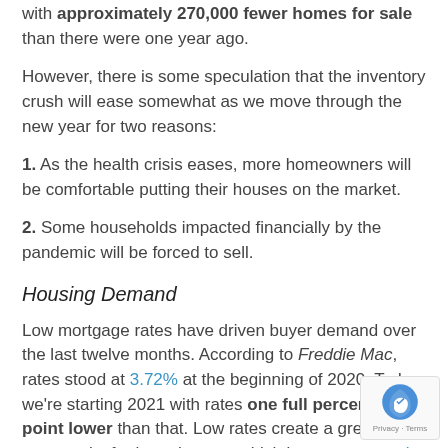with approximately 270,000 fewer homes for sale than there were one year ago.
However, there is some speculation that the inventory crush will ease somewhat as we move through the new year for two reasons:
1. As the health crisis eases, more homeowners will be comfortable putting their houses on the market.
2. Some households impacted financially by the pandemic will be forced to sell.
Housing Demand
Low mortgage rates have driven buyer demand over the last twelve months. According to Freddie Mac, rates stood at 3.72% at the beginning of 2020. Today, we're starting 2021 with rates one full percentage point lower than that. Low rates create a great opportunity for homebuyers, which is one reason why demand is expected to remain high throughout